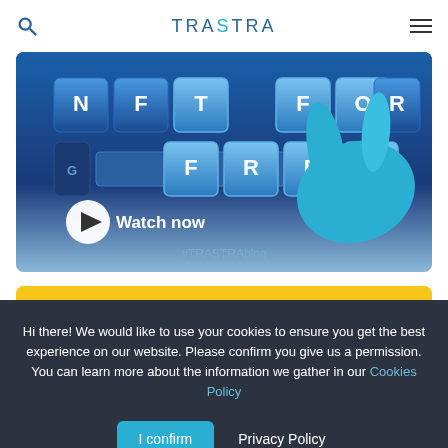TRASTRA
[Figure (screenshot): NFT FOR FREE keyboard-style promotional image with a blue hand/cursor pointing at keyboard keys spelling NFT FOR FREE, Watch now button, and #TRASTRAblog hashtag]
[Figure (illustration): CRYPTO vs STOCKS yellow banner with teal/cyan bold italic text]
Hi there! We would like to use your cookies to ensure you get the best experience on our website. Please confirm you give us a permission. You can learn more about the information we gather in our Cookies Policy
I confirm  Privacy Policy